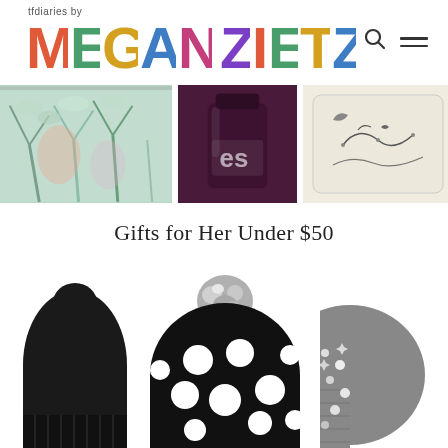tfdiaries by MEGAN ZIETZ
[Figure (screenshot): Navigation header with colorful photo-letter logo reading MEGAN ZIETZ, search icon and hamburger menu, and a strip of three product preview images below (floral/abstract art, dark purple nail polish bottle with 'es' visible, and a cream-colored case with birds/lines)]
Gifts for Her Under $50
[Figure (photo): Three winter pom-pom beanies side by side: left is solid black, center is black with large white polka dots and grey/white marbled pom, right is grey knit with silver/crystal embellishments]